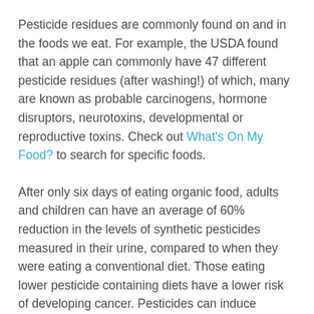Pesticide residues are commonly found on and in the foods we eat. For example, the USDA found that an apple can commonly have 47 different pesticide residues (after washing!) of which, many are known as probable carcinogens, hormone disruptors, neurotoxins, developmental or reproductive toxins. Check out What's On My Food? to search for specific foods.
After only six days of eating organic food, adults and children can have an average of 60% reduction in the levels of synthetic pesticides measured in their urine, compared to when they were eating a conventional diet. Those eating lower pesticide containing diets have a lower risk of developing cancer. Pesticides can induce premature aging of adult stem cells and shift their path toward making more fat cells instead of tendon or cartilage cells, for example. To decrease your pesticide...